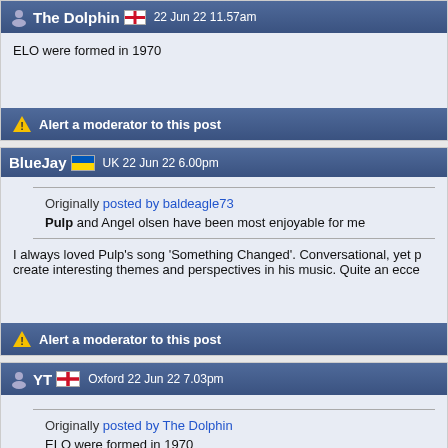The Dolphin 🏴󠁧󠁢󠁥󠁮󠁧󠁿 22 Jun 22 11.57am
ELO were formed in 1970
Alert a moderator to this post
BlueJay 🇺🇦 UK 22 Jun 22 6.00pm
Originally posted by baldeagle73
Pulp and Angel olsen have been most enjoyable for me
I always loved Pulp's song 'Something Changed'. Conversational, yet p... create interesting themes and perspectives in his music. Quite an ecce...
Alert a moderator to this post
YT 🏴󠁧󠁢󠁥󠁮󠁧󠁿 Oxford 22 Jun 22 7.03pm
Originally posted by The Dolphin
ELO were formed in 1970